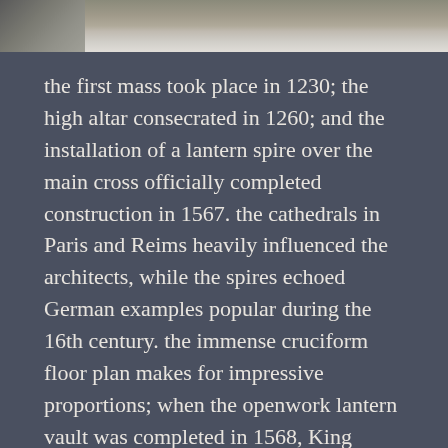[Figure (photo): Partial view of a cathedral or stone architectural structure, appearing as a cropped photo strip at the top of the page]
the first mass took place in 1230; the high altar consecrated in 1260; and the installation of a lantern spire over the main cross officially completed construction in 1567. the cathedrals in Paris and Reims heavily influenced the architects, while the spires echoed German examples popular during the 16th century. the immense cruciform floor plan makes for impressive proportions; when the openwork lantern vault was completed in 1568, King Felipe II said it was the “work of angels, not of men.” some 15 chapels circle the nave and in 1921, the remains of El Cid and his wife were brought to lay at the crossing of the transept. it became a UNESCO World Heritage Site in 1984